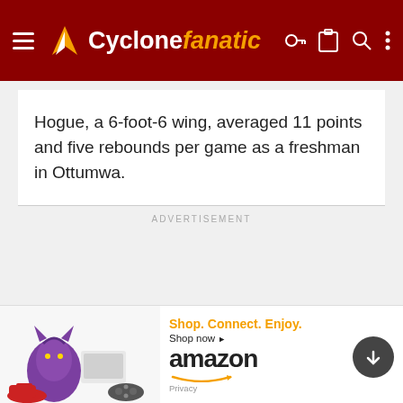Cyclone fanatic
Hogue, a 6-foot-6 wing, averaged 11 points and five rebounds per game as a freshman in Ottumwa.
ADVERTISEMENT
[Figure (other): Amazon advertisement banner: toys/electronics product images on left, 'Shop. Connect. Enjoy. Shop now' text in orange, Amazon logo with smile arrow in black, Privacy label on right.]